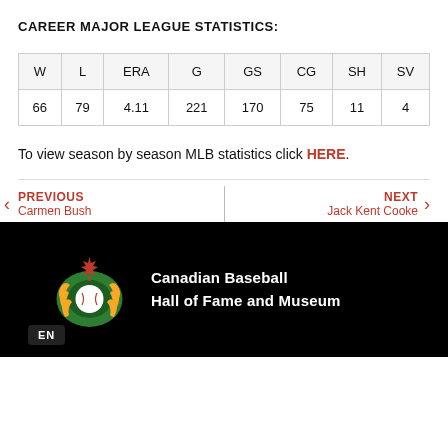CAREER MAJOR LEAGUE STATISTICS:
| W | L | ERA | G | GS | CG | SH | SV |
| --- | --- | --- | --- | --- | --- | --- | --- |
| 66 | 79 | 4.11 | 221 | 170 | 75 | 11 | 4 |
To view season by season MLB statistics click HERE.
PREVIOUS Carmen Bush
NEXT Jack Kent Cooke
[Figure (logo): Canadian Baseball Hall of Fame and Museum logo — golden laurel wreath with baseball and red maple leaf, with organization name text]
EN